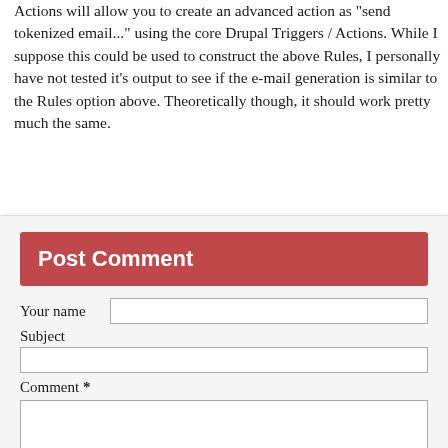Actions will allow you to create an advanced action as "send tokenized email..." using the core Drupal Triggers / Actions. While I suppose this could be used to construct the above Rules, I personally have not tested it's output to see if the e-mail generation is similar to the Rules option above. Theoretically though, it should work pretty much the same.
Post Comment
Your name
Subject
Comment *